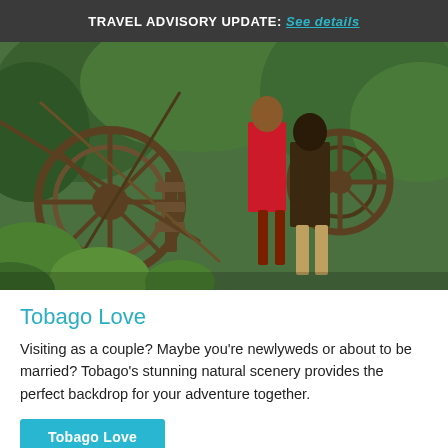TRAVEL ADVISORY UPDATE: See details
[Figure (photo): A couple posing in front of rustic industrial ruins with large gears and machinery, surrounded by tropical greenery. A woman in a red dress and a man in casual clothing stand together in a lush Tobago outdoor setting.]
Tobago Love
Visiting as a couple? Maybe you're newlyweds or about to be married? Tobago's stunning natural scenery provides the perfect backdrop for your adventure together.
Tobago Love